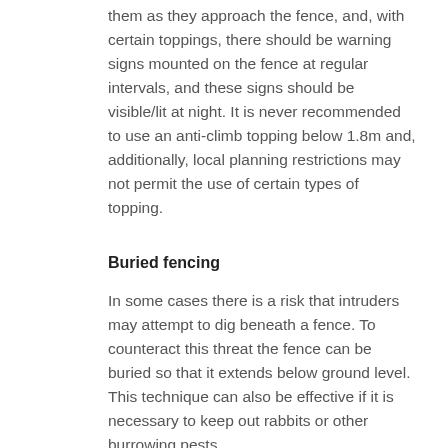them as they approach the fence, and, with certain toppings, there should be warning signs mounted on the fence at regular intervals, and these signs should be visible/lit at night. It is never recommended to use an anti-climb topping below 1.8m and, additionally, local planning restrictions may not permit the use of certain types of topping.
Buried fencing
In some cases there is a risk that intruders may attempt to dig beneath a fence. To counteract this threat the fence can be buried so that it extends below ground level. This technique can also be effective if it is necessary to keep out rabbits or other burrowing pests.
CCTV
CCTV (closed-circuit television) is a cost-effective